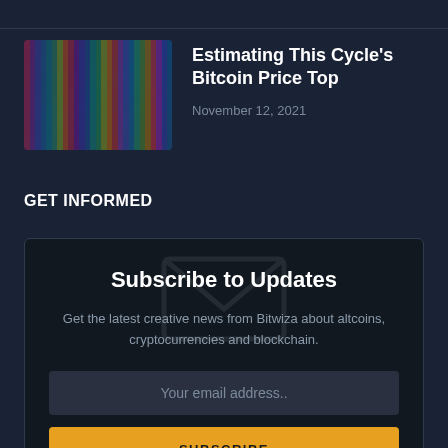[Figure (photo): Article thumbnail image with colorful abstract pixel/bar pattern in dark purple, blue and pink tones]
Estimating This Cycle's Bitcoin Price Top
November 12, 2021
GET INFORMED
[Figure (illustration): Faint envelope/mail icon watermark in background of subscribe box]
Subscribe to Updates
Get the latest creative news from Bitwiza about altcoins, cryptocurrencies and blockchain.
Your email address..
SUBSCRIBE